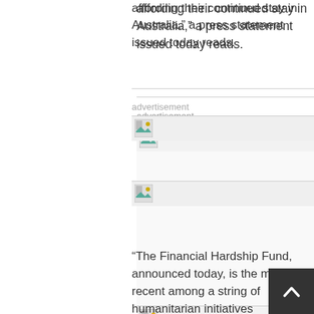affording their continued stay in Australia,” a press statement issued today reads.
advertisement
[Figure (other): Broken image placeholder for advertisement banner 1]
[Figure (other): Broken image placeholder for advertisement banner 2]
“The Financial Hardship Fund, announced today, is the most recent among a string of humanitarian initiatives undertaken by MIT and MIT Group Foundation (a registered Australian
[Figure (other): Scroll to top button with upward arrow chevron]